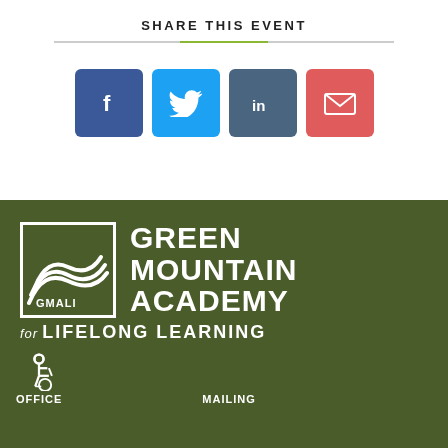SHARE THIS EVENT
[Figure (infographic): Social sharing buttons: Facebook (blue), Twitter (light blue), LinkedIn (steel blue), Email (red/salmon)]
[Figure (logo): Green Mountain Academy for Lifelong Learning logo with GMALI text and mountain arches graphic on dark olive green background]
OFFICE | MAILING